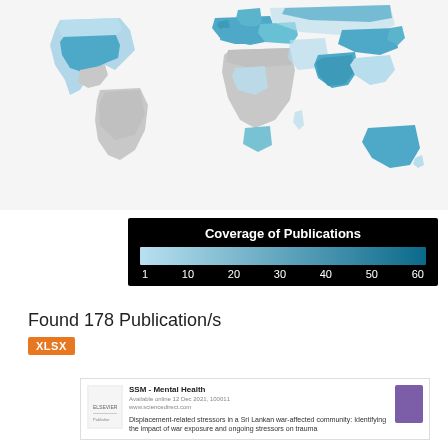[Figure (map): World map showing coverage of publications by country. Countries with publications highlighted in varying shades of blue (light to dark based on number of publications). Gray countries have no publications. Notable blue regions include USA, UK, Germany, Australia, parts of South/Southeast Asia, and scattered others.]
[Figure (other): Legend for the world map titled 'Coverage of Publications' showing a gradient bar from light blue (1) to dark blue (60) with labels at 1, 10, 20, 30, 40, 50, 60.]
Found 178 Publication/s
[Figure (other): XLSX download button in orange]
[Figure (screenshot): Preview of a publication from SSM - Mental Health journal. Title: 'Displacement-related stressors in a Sri Lankan war-affected community: Identifying the impact of war exposure and ongoing stressors on trauma'. Includes Elsevier logo and a purple book cover icon.]